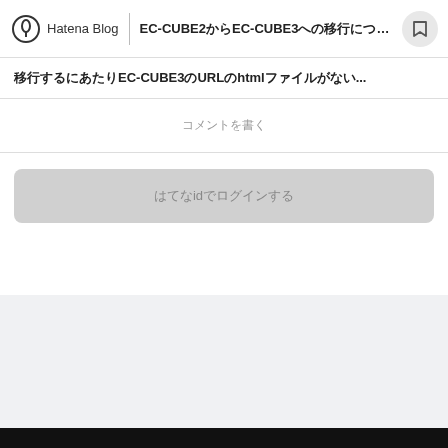Hatena Blog | EC-CUBE2からEC-CUBE3への移行について
移行するにあたりEC-CUBE3のURLのhtmlファイルがない...
コメントを書く
はてなidでログインする